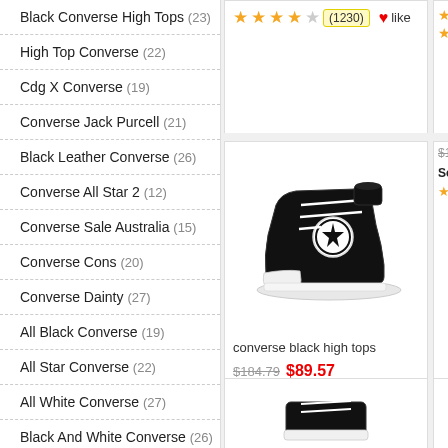Black Converse High Tops (23)
High Top Converse (22)
Cdg X Converse (19)
Converse Jack Purcell (21)
Black Leather Converse (26)
Converse All Star 2 (12)
Converse Sale Australia (15)
Converse Cons (20)
Converse Dainty (27)
All Black Converse (19)
All Star Converse (22)
All White Converse (27)
Black And White Converse (26)
Black And White High Top Converse (25)
Black Converse Low Tops (24)
Black High Top Converse (24)
[Figure (photo): Black Converse high top sneaker product photo]
converse black high tops
$184.79  $89.57  Sold: 6692  (1050) like
[Figure (photo): Black Converse low top sneaker product photo (partial)]